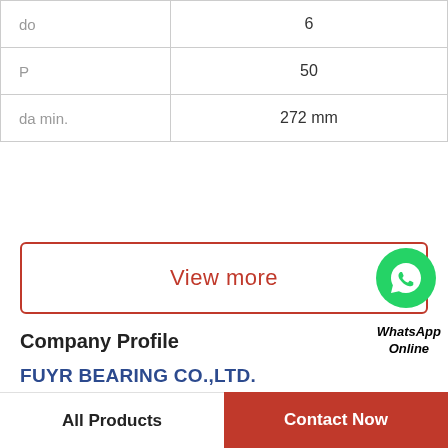| Parameter | Value |
| --- | --- |
| do | 6 |
| P | 50 |
| da min. | 272 mm |
View more
[Figure (illustration): WhatsApp Online button with green phone icon circle and italic label]
Company Profile
FUYR BEARING CO.,LTD.
Phone   +1-847-892-7005
All Products   Contact Now